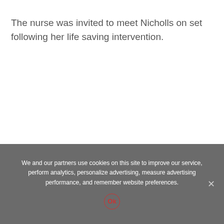The nurse was invited to meet Nicholls on set following her life saving intervention.
Nicholls also starred alongside her late husband Mark
We and our partners use cookies on this site to improve our service, perform analytics, personalize advertising, measure advertising performance, and remember website preferences.
Ok